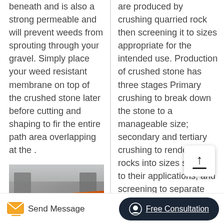beneath and is also a strong permeable and will prevent weeds from sprouting through your gravel. Simply place your weed resistant membrane on top of the crushed stone later before cutting and shaping to fir the entire path area overlapping at the .
[Figure (photo): Photo of a quarry or mining site with orange conveyor belts and concrete structures, workers visible in the background.]
are produced by crushing quarried rock then screening it to sizes appropriate for the intended use. Production of crushed stone has three stages Primary crushing to break down the stone to a manageable size; secondary and tertiary crushing to render the rocks into sizes specific to their applications; and screening to separate the crushed stone for further processing.